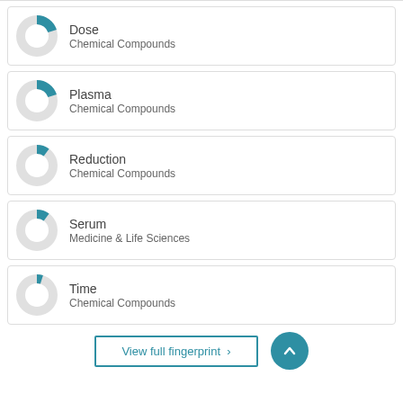[Figure (donut-chart): Donut chart showing approximately 45% fill in blue for Dose - Chemical Compounds]
Dose
Chemical Compounds
[Figure (donut-chart): Donut chart showing approximately 45% fill in blue for Plasma - Chemical Compounds]
Plasma
Chemical Compounds
[Figure (donut-chart): Donut chart showing approximately 35% fill in blue for Reduction - Chemical Compounds]
Reduction
Chemical Compounds
[Figure (donut-chart): Donut chart showing approximately 35% fill in blue for Serum - Medicine & Life Sciences]
Serum
Medicine & Life Sciences
[Figure (donut-chart): Donut chart showing approximately 30% fill in blue for Time - Chemical Compounds]
Time
Chemical Compounds
View full fingerprint >